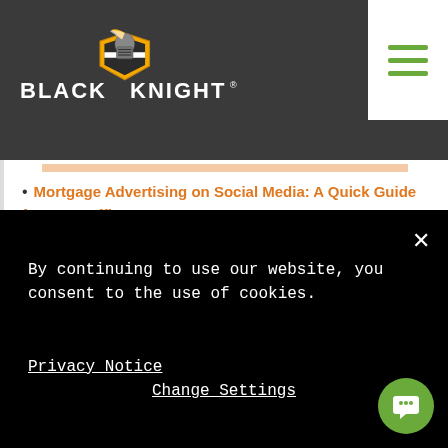[Figure (logo): Black Knight logo with knight helmet graphic and text BLACK KNIGHT]
Mortgage Advertising on Social Media: A Quick Guide for Loan Officers
By continuing to use our website, you consent to the use of cookies.
Privacy Notice
Change Settings